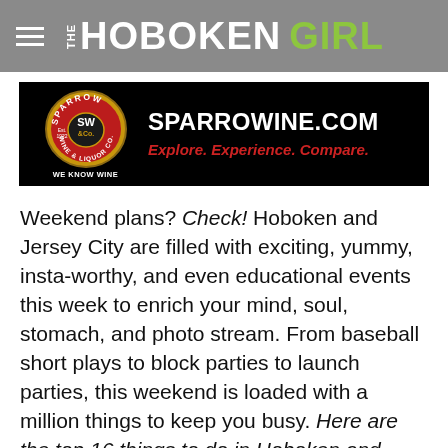THE HOBOKEN GIRL
[Figure (advertisement): Sparrow Wine & Liquor Co. advertisement banner. Black background with oval red/gold logo on left reading 'Sparrow Wine & Liquor Co. Est. 1922 SW&Co.' and text on right: SPARROWINE.COM, Explore. Experience. Compare., WE KNOW WINE.]
Weekend plans? Check! Hoboken and Jersey City are filled with exciting, yummy, insta-worthy, and even educational events this week to enrich your mind, soul, stomach, and photo stream. From baseball short plays to block parties to launch parties, this weekend is loaded with a million things to keep you busy. Here are the top 16 things to do in Hoboken and Jersey City this weekend